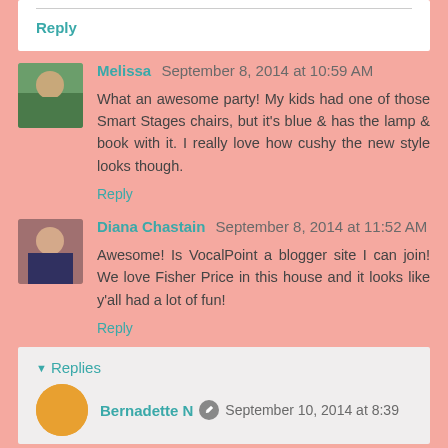Reply
Melissa  September 8, 2014 at 10:59 AM
What an awesome party! My kids had one of those Smart Stages chairs, but it's blue & has the lamp & book with it. I really love how cushy the new style looks though.
Reply
Diana Chastain  September 8, 2014 at 11:52 AM
Awesome! Is VocalPoint a blogger site I can join! We love Fisher Price in this house and it looks like y'all had a lot of fun!
Reply
Replies
Bernadette N  September 10, 2014 at 8:39